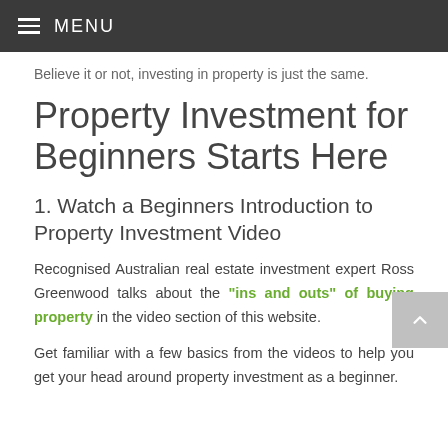MENU
Believe it or not, investing in property is just the same.
Property Investment for Beginners Starts Here
1. Watch a Beginners Introduction to Property Investment Video
Recognised Australian real estate investment expert Ross Greenwood talks about the “ins and outs” of buying property in the video section of this website.
Get familiar with a few basics from the videos to help you get your head around property investment as a beginner.